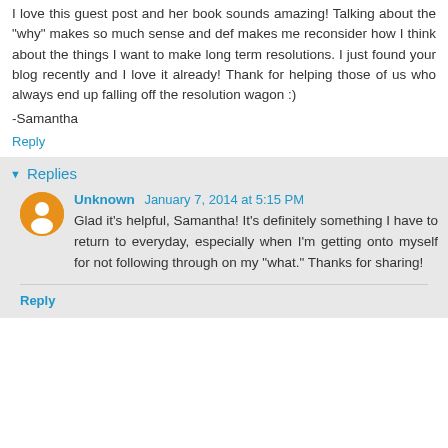I love this guest post and her book sounds amazing! Talking about the "why" makes so much sense and def makes me reconsider how I think about the things I want to make long term resolutions. I just found your blog recently and I love it already! Thank for helping those of us who always end up falling off the resolution wagon :)
-Samantha
Reply
Replies
Unknown  January 7, 2014 at 5:15 PM
Glad it's helpful, Samantha! It's definitely something I have to return to everyday, especially when I'm getting onto myself for not following through on my "what." Thanks for sharing!
Reply